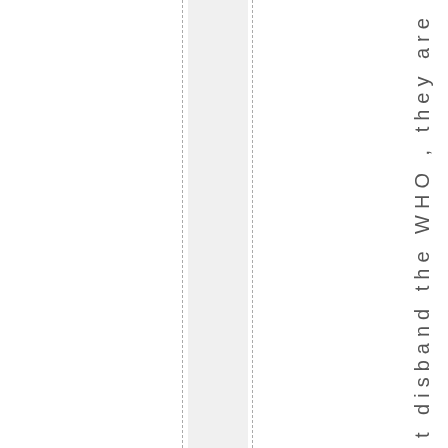t disband the WHO , they are age